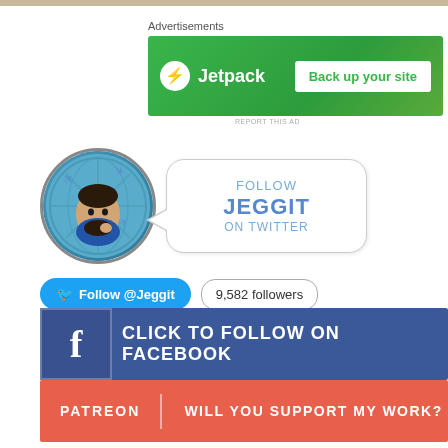[Figure (screenshot): Top image strip at top of page]
Advertisements
[Figure (screenshot): Jetpack advertisement banner with green background, lightning bolt icon, 'Jetpack' name, and 'Back up your site' button]
REPORT THIS AD
[Figure (illustration): Circular avatar of a man with beard on blue globe background with planes, with a speech bubble saying 'FOLLOW JEGGIT ON TWITTER']
Follow @Jeggit  9,582 followers
[Figure (screenshot): Facebook banner: CLICK TO FOLLOW ON FACEBOOK]
[Figure (screenshot): Patreon banner: PATREON | WILL YOU SUPPORT MY WORK?]